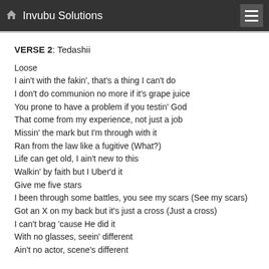Invubu Solutions
VERSE 2: Tedashii
Loose
I ain't with the fakin', that's a thing I can't do
I don't do communion no more if it's grape juice
You prone to have a problem if you testin' God
That come from my experience, not just a job
Missin' the mark but I'm through with it
Ran from the law like a fugitive (What?)
Life can get old, I ain't new to this
Walkin' by faith but I Uber'd it
Give me five stars
I been through some battles, you see my scars (See my scars)
Got an X on my back but it's just a cross (Just a cross)
I can't brag 'cause He did it
With no glasses, seein' different
Ain't no actor, scene's different